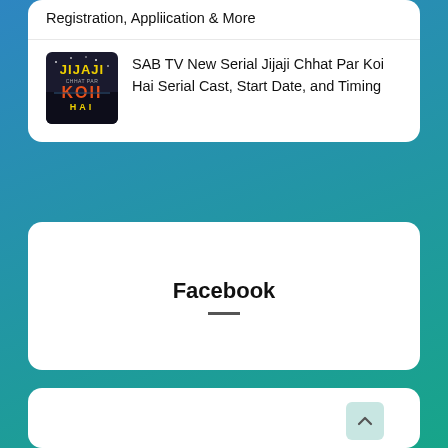Registration, Appliication & More
[Figure (illustration): Thumbnail image for Jijaji Chhat Par Koi Hai serial – dark background with yellow/green stylized text logo]
SAB TV New Serial Jijaji Chhat Par Koi Hai Serial Cast, Start Date, and Timing
Facebook
[Figure (other): Empty white card section at the bottom (partially visible), with a scroll-to-top button in the lower right corner]